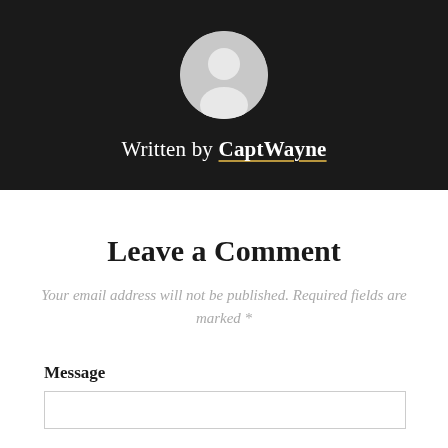[Figure (illustration): Dark banner with a circular grey avatar/silhouette icon of a person]
Written by CaptWayne
Leave a Comment
Your email address will not be published. Required fields are marked *
Message